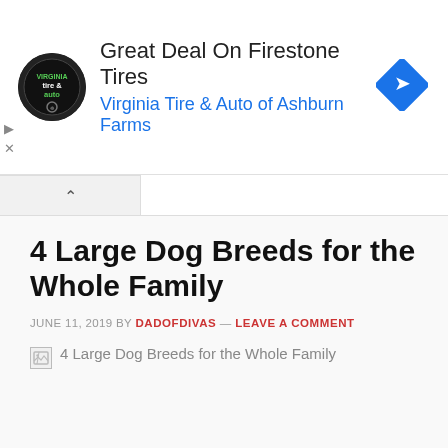[Figure (screenshot): Advertisement banner: Virginia Tire & Auto logo (circular black badge), heading 'Great Deal On Firestone Tires', subheading 'Virginia Tire & Auto of Ashburn Farms' in blue, blue diamond navigation arrow icon on the right. Play and X controls on the left side.]
4 Large Dog Breeds for the Whole Family
JUNE 11, 2019 BY DADOFDIVAS — LEAVE A COMMENT
[Figure (photo): Broken image placeholder showing alt text '4 Large Dog Breeds for the Whole Family' with a small broken image icon]